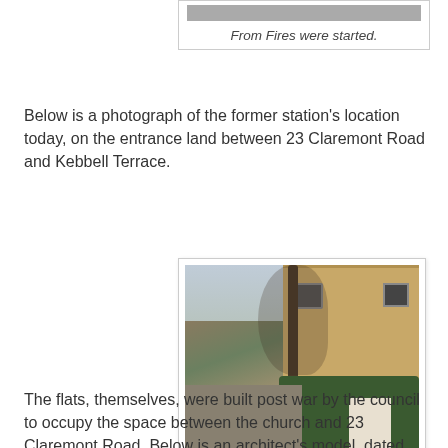From Fires were started.
Below is a photograph of the former station's location today, on the entrance land between 23 Claremont Road and Kebbell Terrace.
[Figure (photo): Photograph of the former station's location today, showing a brick building behind bare trees, with hedges and a white wall in the foreground, on the entrance land between 23 Claremont Road and Kebbell Terrace.]
The flats, themselves, were built post war by the council to occupy the space between the church and 23 Claremont Road. Below is an architect's model, dated July 1954, for the